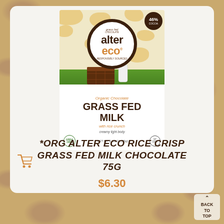[Figure (photo): Alter Eco Grass Fed Milk Chocolate with rice crunch 75g product package. The box features a cow-print pattern in cream and tan, a brown circular logo with 'alter eco' text, a scene with a chocolate bar and milk bottle on grass, and text reading 'Organic Chocolate GRASS FED MILK with rice crunch, creamy light body, NET WT 2.65 OZ (75g)'. A 46% cocoa badge appears in the top right corner.]
[Figure (other): Shopping cart icon in orange/amber color]
*ORG ALTER ECO RICE CRISP GRASS FED MILK CHOCOLATE 75G
$6.30